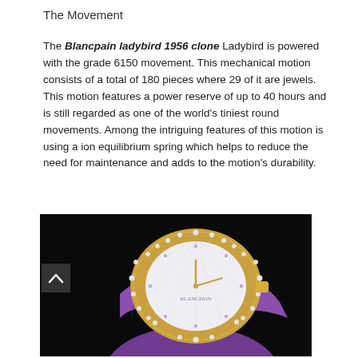The Movement
The Blancpain ladybird 1956 clone Ladybird is powered with the grade 6150 movement. This mechanical motion consists of a total of 180 pieces where 29 of it are jewels. This motion features a power reserve of up to 40 hours and is still regarded as one of the world's tiniest round movements. Among the intriguing features of this motion is using a ion equilibrium spring which helps to reduce the need for maintenance and adds to the motion's durability.
[Figure (photo): Blancpain Ladybird watch with diamond-encrusted oval case, white mother-of-pearl dial with diamond hour markers, gold hands, and purple alligator strap, photographed on dark background]